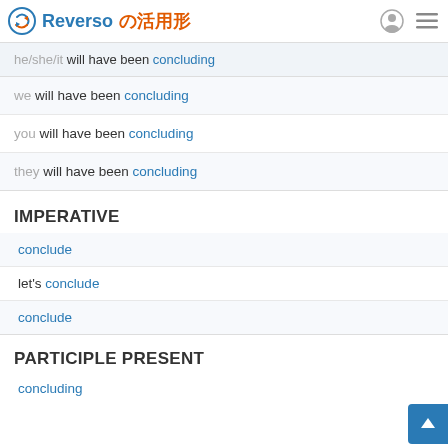Reverso の活用形
he/she/it will have been concluding
we will have been concluding
you will have been concluding
they will have been concluding
IMPERATIVE
conclude
let's conclude
conclude
PARTICIPLE PRESENT
concluding